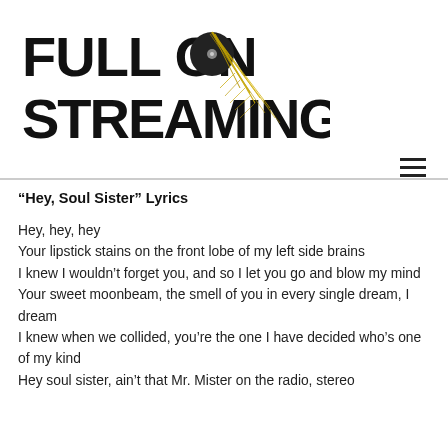[Figure (logo): Full On Streaming logo with bold black text 'FULL ON STREAMING' and a vinyl record with lightning/feather graphic element in gold/yellow]
“Hey, Soul Sister” Lyrics
Hey, hey, hey
Your lipstick stains on the front lobe of my left side brains
I knew I wouldn’t forget you, and so I let you go and blow my mind
Your sweet moonbeam, the smell of you in every single dream, I dream
I knew when we collided, you’re the one I have decided who’s one of my kind
Hey soul sister, ain’t that Mr. Mister on the radio, stereo